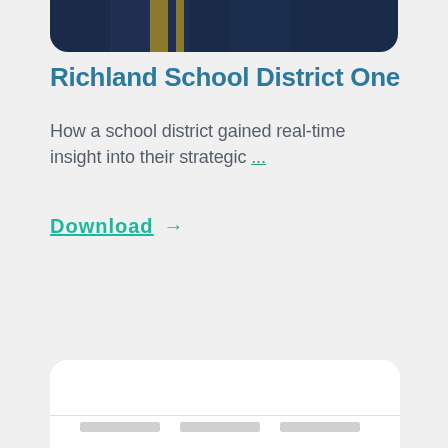[Figure (photo): Top portion of a card showing a school bus with dark navy and yellow stripe colors, partially cropped at top]
Richland School District One
How a school district gained real-time insight into their strategic ...
Download →
[Figure (screenshot): Bottom portion of another card showing a white interior screenshot, partially cropped at bottom]